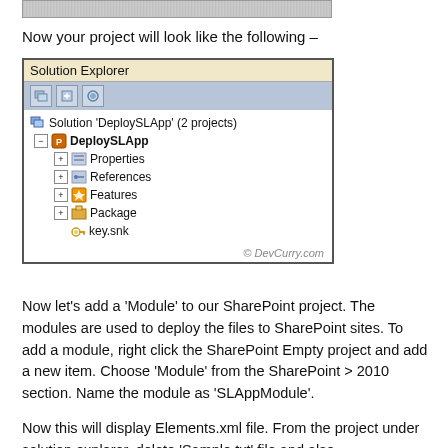[Figure (screenshot): Partial top of a screenshot (cropped)]
Now your project will look like the following –
[Figure (screenshot): Solution Explorer window showing Solution 'DeploySLApp' (2 projects) with DeploySLApp project expanded, containing Properties, References, Features, Package, and key.snk. Watermark: © DevCurry.com]
Now let's add a 'Module' to our SharePoint project. The modules are used to deploy the files to SharePoint sites. To add a module, right click the SharePoint Empty project and add a new item. Choose 'Module' from the SharePoint > 2010 section. Name the module as 'SLAppModule'.
Now this will display Elements.xml file. From the project under solution explorer, delete 'Sample.txt' file and also